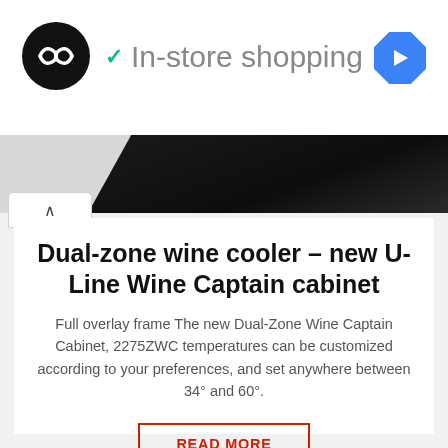[Figure (logo): Black circular logo with two infinity/loop arrows in white]
✓ In-store shopping
[Figure (logo): Blue diamond-shaped navigation arrow icon]
[Figure (photo): Partial top view of a dark/black wine cooler cabinet]
Dual-zone wine cooler – new U-Line Wine Captain cabinet
Full overlay frame The new Dual-Zone Wine Captain Cabinet, 2275ZWC temperatures can be customized according to your preferences, and set anywhere between 34° and 60°.
READ MORE